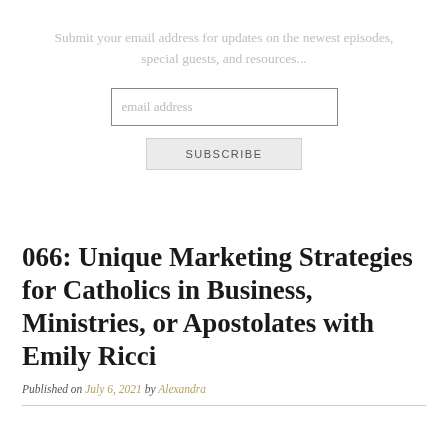Submit your email address for updates on the newest episodes, special guests, and resources...
[Figure (screenshot): Email address input field with placeholder text 'email address' and a SUBSCRIBE button below it]
066: Unique Marketing Strategies for Catholics in Business, Ministries, or Apostolates with Emily Ricci
Published on July 6, 2021 by Alexandra